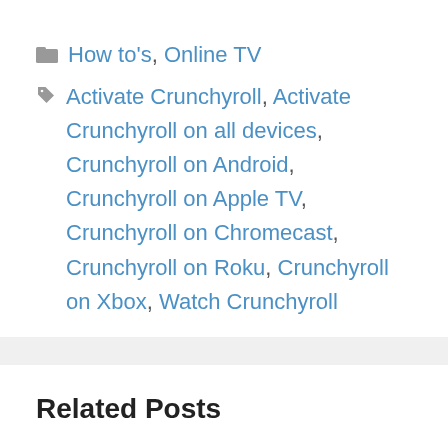How to's, Online TV
Activate Crunchyroll, Activate Crunchyroll on all devices, Crunchyroll on Android, Crunchyroll on Apple TV, Crunchyroll on Chromecast, Crunchyroll on Roku, Crunchyroll on Xbox, Watch Crunchyroll
Related Posts